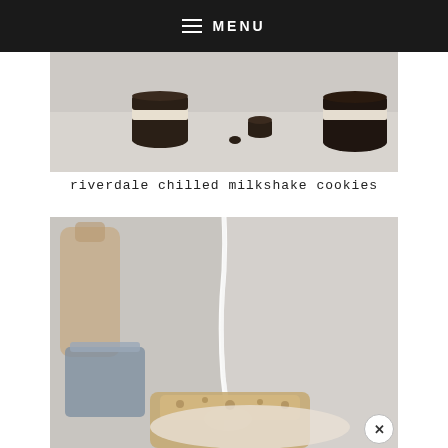MENU
[Figure (photo): Photo of chocolate sandwich cookies (Oreo-style) on a light surface, some stacked and one open showing cream filling, slightly blurred]
riverdale chilled milkshake cookies
[Figure (photo): Close-up photo of a cookie being drizzled with white cream/milk from above into a bowl or cup, with baked goods visible below, light neutral background]